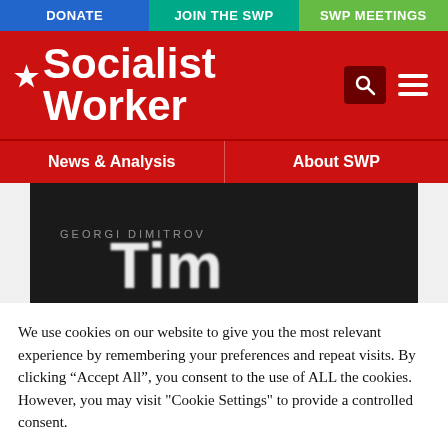DONATE | JOIN THE SWP | SWP MEETINGS
Socialist Worker
News & Analysis | About SWP
[Figure (photo): A black and white image showing text with the letters 'Tim' visible in a graffiti or signage style.]
We use cookies on our website to give you the most relevant experience by remembering your preferences and repeat visits. By clicking “Accept All”, you consent to the use of ALL the cookies. However, you may visit "Cookie Settings" to provide a controlled consent.
Cookie Settings
Accept All